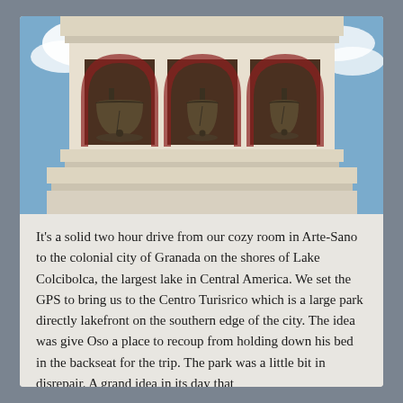[Figure (photo): A bell tower of a colonial church or building with three arched openings, each containing a large bronze bell. The arches have red/dark trim. The structure is white/cream colored. Blue sky with clouds in the background.]
It's a solid two hour drive from our cozy room in Arte-Sano to the colonial city of Granada on the shores of Lake Colcibolca, the largest lake in Central America. We set the GPS to bring us to the Centro Turisrico which is a large park directly lakefront on the southern edge of the city. The idea was give Oso a place to recoup from holding down his bed in the backseat for the trip. The park was a little bit in disrepair. A grand idea in its day that